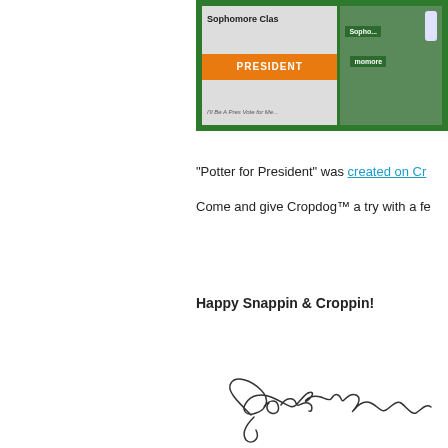[Figure (photo): Two photos of 'Potter for President' campaign signs on a green background. Left photo shows a sign reading 'PRESIDENT' in orange/white with text 'Sophomore Class'. Right photo shows green campaign signs.]
"Potter for President" was created on Cr
Come and give Cropdog™ a try with a fe
Happy Snappin & Croppin!
[Figure (photo): A handwritten signature reading 'Jamie Pott...']